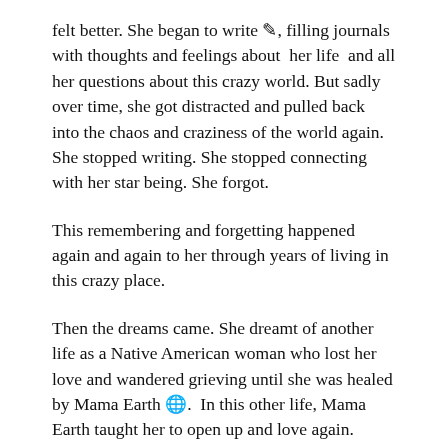felt better. She began to write ✏, filling journals with thoughts and feelings about her life and all her questions about this crazy world. But sadly over time, she got distracted and pulled back into the chaos and craziness of the world again. She stopped writing. She stopped connecting with her star being. She forgot.
This remembering and forgetting happened again and again to her through years of living in this crazy place.
Then the dreams came. She dreamt of another life as a Native American woman who lost her love and wandered grieving until she was healed by Mama Earth 🌍. In this other life, Mama Earth taught her to open up and love again.
She dreamt of this other life again and again. She LIVED an entire other life in her dreams!